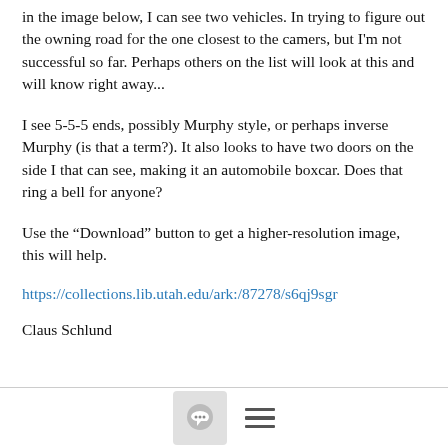in the image below, I can see two vehicles. In trying to figure out the owning road for the one closest to the camers, but I'm not successful so far. Perhaps others on the list will look at this and will know right away...
I see 5-5-5 ends, possibly Murphy style, or perhaps inverse Murphy (is that a term?). It also looks to have two doors on the side I that can see, making it an automobile boxcar. Does that ring a bell for anyone?
Use the “Download” button to get a higher-resolution image, this will help.
https://collections.lib.utah.edu/ark:/87278/s6qj9sgr
Claus Schlund